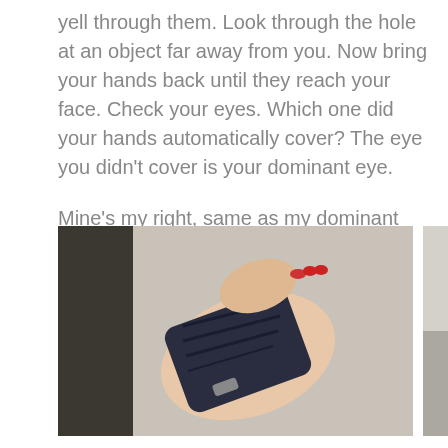yell through them. Look through the hole at an object far away from you. Now bring your hands back until they reach your face. Check your eyes. Which one did your hands automatically cover? The eye you didn't cover is your dominant eye.

Mine's my right, same as my dominant hand. I got ready and put on bracers on my left forearm and finger tabs on my right hand. I stepped up to the range and listened to Alex give me a primer.
[Figure (photo): Two side-by-side photos: left photo shows an arm/wrist wearing a dark blue/black archery bracer with red fingernails visible; right photo shows a hand holding a black heart-shaped archery finger tab]